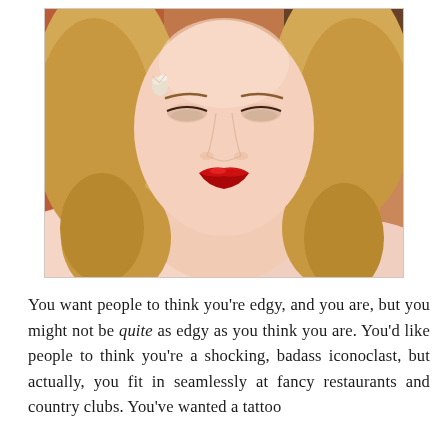[Figure (photo): Close-up photo of a young woman with blonde wavy hair, bold red lipstick, and a jeweled earring, looking directly at the camera against a blurred red/dark background.]
You want people to think you're edgy, and you are, but you might not be quite as edgy as you think you are. You'd like people to think you're a shocking, badass iconoclast, but actually, you fit in seamlessly at fancy restaurants and country clubs. You've wanted a tattoo